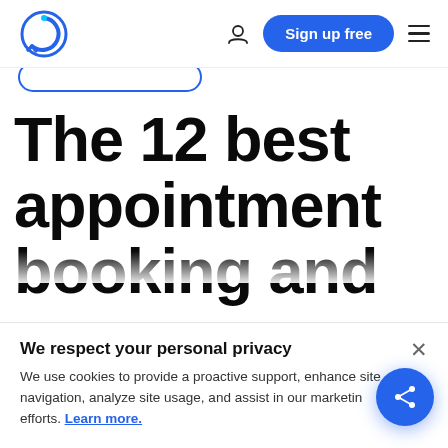[Figure (logo): Calendly-style logo with stylized 'C' in blue with circular arrows]
Sign up free
The 12 best appointment booking and
We respect your personal privacy
We use cookies to provide a proactive support, enhance site navigation, analyze site usage, and assist in our marketing efforts. Learn more.